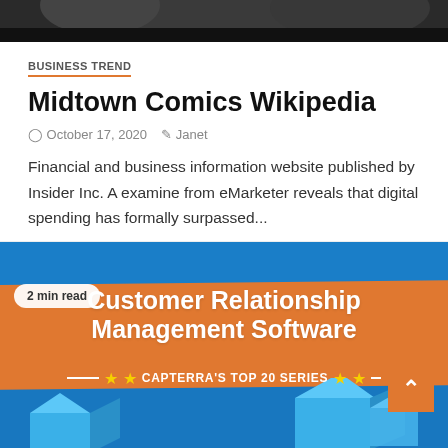[Figure (photo): Black and white photo strip at top of page, partially cropped]
BUSINESS TREND
Midtown Comics Wikipedia
October 17, 2020   Janet
Financial and business information website published by Insider Inc. A examine from eMarketer reveals that digital spending has formally surpassed...
[Figure (infographic): Customer Relationship Management Software - Capterra's Top 20 Series infographic on blue background with orange ribbon banner, 2 min read badge, yellow stars, and 3D box shapes at bottom]